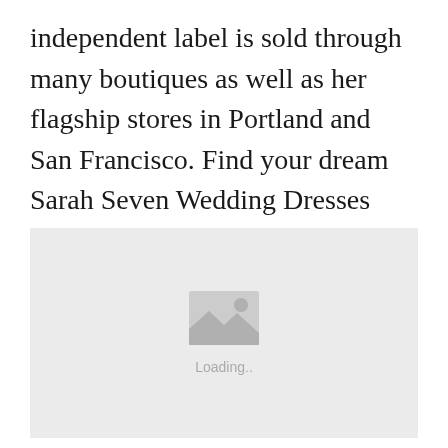independent label is sold through many boutiques as well as her flagship stores in Portland and San Francisco. Find your dream Sarah Seven Wedding Dresses dress today.
[Figure (photo): Image placeholder with a loading icon and 'Loading..' text on a light grey background]